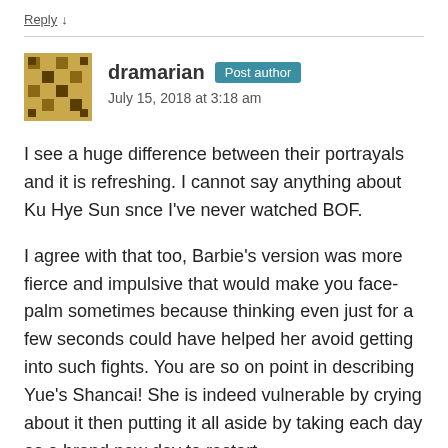Reply ↓
dramarian Post author
July 15, 2018 at 3:18 am
I see a huge difference between their portrayals and it is refreshing. I cannot say anything about Ku Hye Sun snce I've never watched BOF.
I agree with that too, Barbie's version was more fierce and impulsive that would make you face-palm sometimes because thinking even just for a few seconds could have helped her avoid getting into such fights. You are so on point in describing Yue's Shancai! She is indeed vulnerable by crying about it then putting it all aside by taking each day as a brand new day to restart.